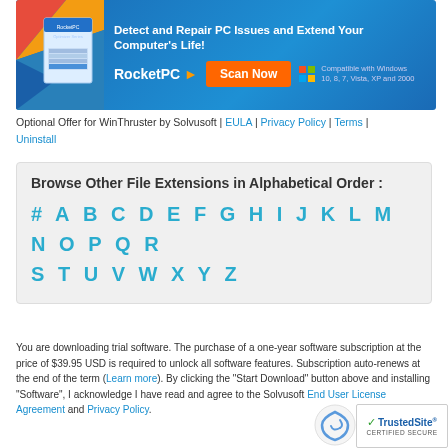[Figure (screenshot): RocketPC advertisement banner with blue gradient background, software box graphic, headline text, Scan Now button, and Windows compatibility note.]
Optional Offer for WinThruster by Solvusoft | EULA | Privacy Policy | Terms | Uninstall
Browse Other File Extensions in Alphabetical Order :
# A B C D E F G H I J K L M N O P Q R S T U V W X Y Z
You are downloading trial software. The purchase of a one-year software subscription at the price of $39.95 USD is required to unlock all software features. Subscription auto-renews at the end of the term (Learn more). By clicking the "Start Download" button above and installing "Software", I acknowledge I have read and agree to the Solvusoft End User License Agreement and Privacy Policy.
[Figure (logo): TrustedSite Certified Secure badge]